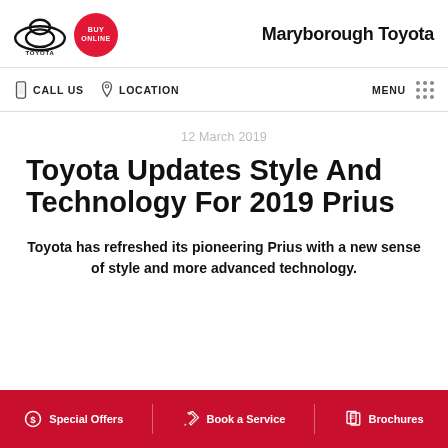[Figure (logo): Toyota logo and Buy Online badge]
Maryborough Toyota
CALL US   LOCATION   MENU
12 March 2019
Toyota Updates Style And Technology For 2019 Prius
Toyota has refreshed its pioneering Prius with a new sense of style and more advanced technology.
Special Offers   Book a Service   Brochures